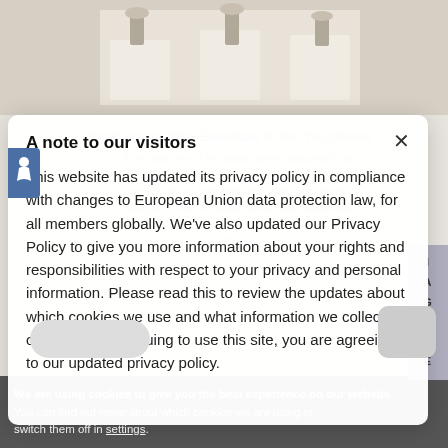[Figure (screenshot): Background photo of a home office with white furniture and bar stools]
Basic Home Office Essentials To Get You Started
If you are one of the lucky moms that gets to set a home office consider yourself blessed. While we are all not gathering the "work from home" thought I share 20 basic home office essentials.
There's
We are using cookies to give you the best experience on our website.
You can find out more about which cookies we are using or switch them off in settings.
A note to our visitors
This website has updated its privacy policy in compliance with changes to European Union data protection law, for all members globally. We've also updated our Privacy Policy to give you more information about your rights and responsibilities with respect to your privacy and personal information. Please read this to review the updates about which cookies we use and what information we collect on our site. By continuing to use this site, you are agreeing to our updated privacy policy.